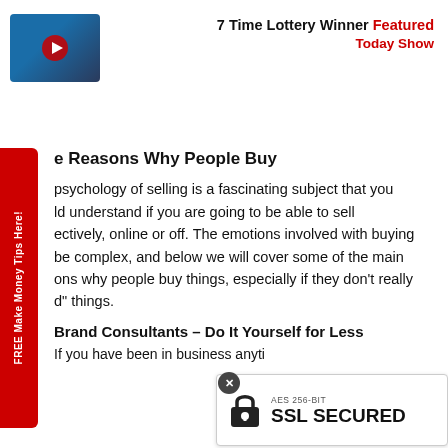[Figure (photo): YouTube video thumbnail showing a man in a suit with a red play button overlay]
7 Time Lottery Winner Featured
Today Show
e Reasons Why People Buy
The psychology of selling is a fascinating subject that you should understand if you are going to be able to sell effectively, online or off. The emotions involved with buying can be complex, and below we will cover some of the main reasons why people buy things, especially if they don’t really “need” things.
Brand Consultants – Do It Yourself for Less
If you have been in business anytime...
[Figure (illustration): SSL Secured badge with AES 256-BIT lock icon and text SSL SECURED]